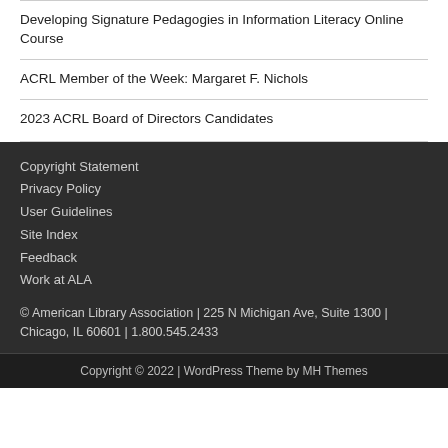Developing Signature Pedagogies in Information Literacy Online Course
ACRL Member of the Week: Margaret F. Nichols
2023 ACRL Board of Directors Candidates
Copyright Statement
Privacy Policy
User Guidelines
Site Index
Feedback
Work at ALA

© American Library Association | 225 N Michigan Ave, Suite 1300 | Chicago, IL 60601 | 1.800.545.2433
Copyright © 2022 | WordPress Theme by MH Themes